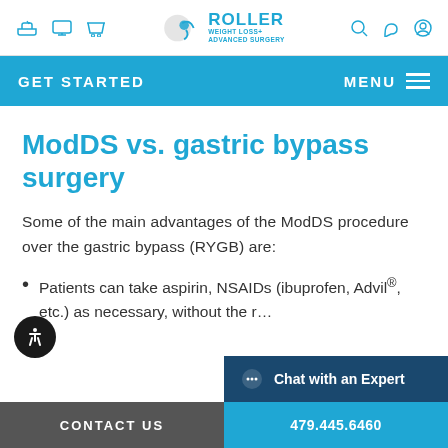Roller Weight Loss + Advanced Surgery — navigation header
GET STARTED | MENU
ModDS vs. gastric bypass surgery
Some of the main advantages of the ModDS procedure over the gastric bypass (RYGB) are:
Patients can take aspirin, NSAIDs (ibuprofen, Advil®, etc.) as necessary, without the r…